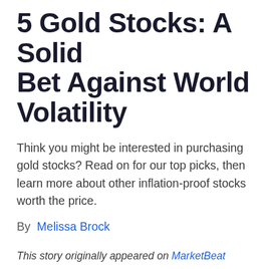5 Gold Stocks: A Solid Bet Against World Volatility
Think you might be interested in purchasing gold stocks? Read on for our top picks, then learn more about other inflation-proof stocks worth the price.
By Melissa Brock
This story originally appeared on MarketBeat
You've heard it before: Gold is known for